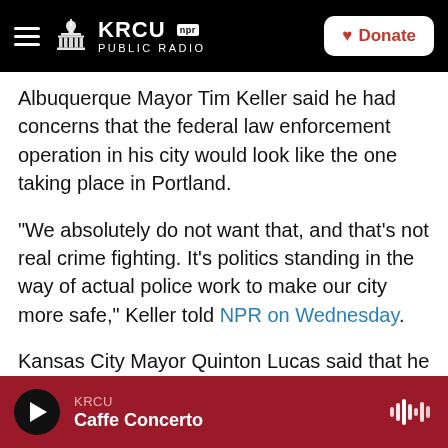KRCU NPR PUBLIC RADIO | Donate
Albuquerque Mayor Tim Keller said he had concerns that the federal law enforcement operation in his city would look like the one taking place in Portland.
“We absolutely do not want that, and that’s not real crime fighting. It’s politics standing in the way of actual police work to make our city more safe,” Keller told NPR on Wednesday.
Kansas City Mayor Quinton Lucas said that he disagreed with the president’s belief that the cities’ high crime rates are linked to recent protests.
KRCU | Caffe Concerto